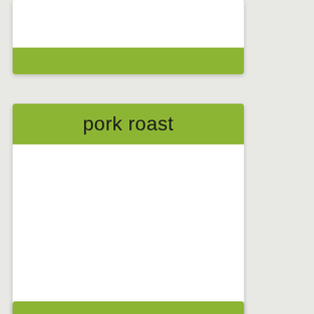[Figure (other): Top portion of a recipe card with a white image area and olive-green bar at the bottom, partially visible]
pork roast
[Figure (photo): Empty white area where a recipe photo would appear]
Craving Haven    5
pork roast  pork
meat  low carb
[Figure (other): Bottom card header bar, olive green, partially visible]